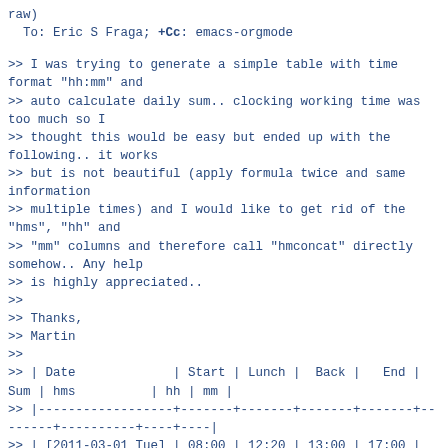raw)
  To: Eric S Fraga; +Cc: emacs-orgmode
>> I was trying to generate a simple table with time format "hh:mm" and
>> auto calculate daily sum.. clocking working time was too much so I
>> thought this would be easy but ended up with the following.. it works
>> but is not beautiful (apply formula twice and same information
>> multiple times) and I would like to get rid of the "hms", "hh" and
>> "mm" columns and therefore call "hmconcat" directly somehow.. Any help
>> is highly appreciated..
>>
>> Thanks,
>> Martin
>>
>> | Date             | Start | Lunch |  Back |   End | Sum | hms          | hh | mm |
>> |------------------+-------+-------+-------+-------+--------+-----------+----+----|
>> | [2011-03-01 Tue] | 08:00 | 12:20 | 13:00 | 17:00 | 08:20 | 8@ 20' 0" |  8 | 20 |
>> #+TBLFM: $6='(hmconcat $8 $9)::$7=time(<2010-01-01 $5>)-time(<2010-01-01 $4>)+time(<2010-01-01 $3>)-time(<2010-01-01 $2>)::$8=hour($7)::$9=minute($7)